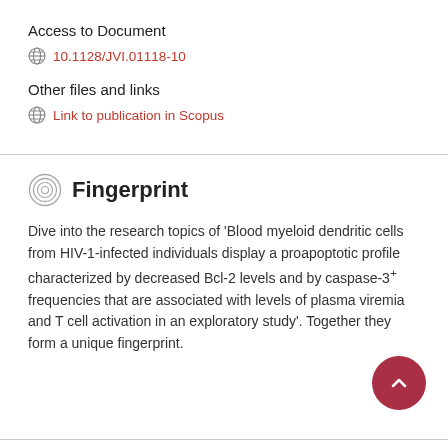Access to Document
10.1128/JVI.01118-10
Other files and links
Link to publication in Scopus
Fingerprint
Dive into the research topics of 'Blood myeloid dendritic cells from HIV-1-infected individuals display a proapoptotic profile characterized by decreased Bcl-2 levels and by caspase-3+ frequencies that are associated with levels of plasma viremia and T cell activation in an exploratory study'. Together they form a unique fingerprint.